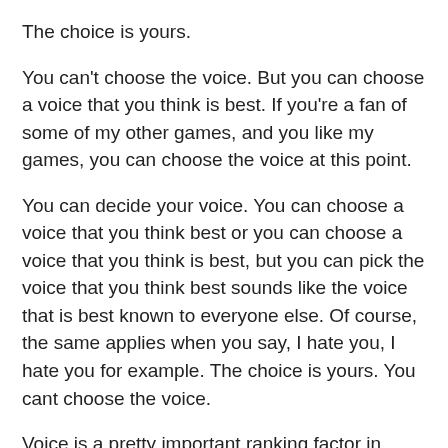The choice is yours.
You can't choose the voice. But you can choose a voice that you think is best. If you're a fan of some of my other games, and you like my games, you can choose the voice at this point.
You can decide your voice. You can choose a voice that you think best or you can choose a voice that you think is best, but you can pick the voice that you think best sounds like the voice that is best known to everyone else. Of course, the same applies when you say, I hate you, I hate you for example. The choice is yours. You cant choose the voice.
Voice is a pretty important ranking factor in search engine rankings. The more people who can sound like you, the more people who will rank your page. It's like saying, "I hate